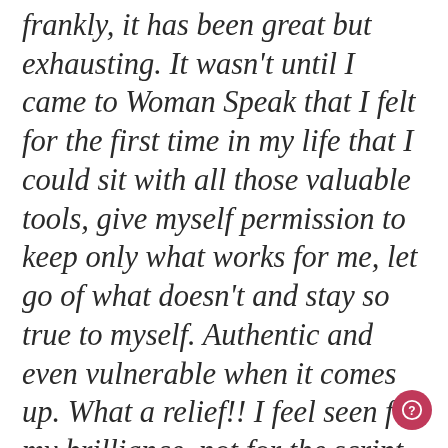frankly, it has been great but exhausting. It wasn't until I came to Woman Speak that I felt for the first time in my life that I could sit with all those valuable tools, give myself permission to keep only what works for me, let go of what doesn't and stay so true to myself. Authentic and even vulnerable when it comes up. What a relief!! I feel seen for my brilliance, not for the script that I have perfectly crafted. Im